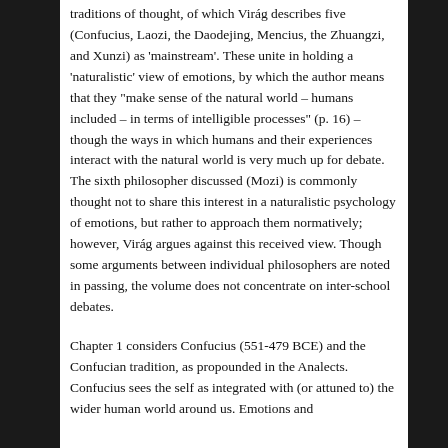traditions of thought, of which Virág describes five (Confucius, Laozi, the Daodejing, Mencius, the Zhuangzi, and Xunzi) as 'mainstream'. These unite in holding a 'naturalistic' view of emotions, by which the author means that they "make sense of the natural world – humans included – in terms of intelligible processes" (p. 16) – though the ways in which humans and their experiences interact with the natural world is very much up for debate. The sixth philosopher discussed (Mozi) is commonly thought not to share this interest in a naturalistic psychology of emotions, but rather to approach them normatively; however, Virág argues against this received view. Though some arguments between individual philosophers are noted in passing, the volume does not concentrate on inter-school debates.
Chapter 1 considers Confucius (551-479 BCE) and the Confucian tradition, as propounded in the Analects. Confucius sees the self as integrated with (or attuned to) the wider human world around us. Emotions and